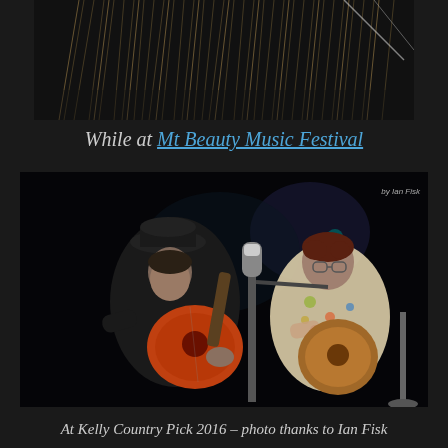[Figure (photo): Top photo showing dried grass/reeds with rope or wire, dark background]
While at Mt Beauty Music Festival
[Figure (photo): Two musicians performing on stage at Kelly Country Pick 2016. Left person wears black hat and dark jacket, plays an orange acoustic guitar. Right person wears floral shirt and glasses, plays an acoustic guitar and sings into a microphone. Dark stage background with subtle colored lighting.]
At Kelly Country Pick 2016 – photo thanks to Ian Fisk